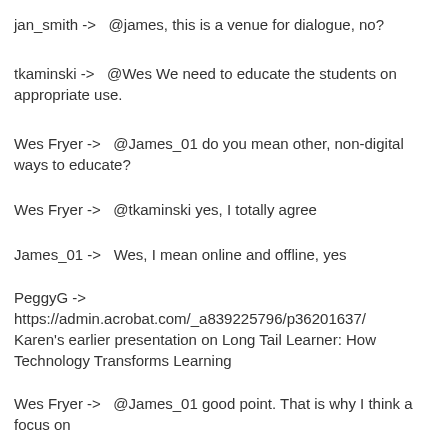jan_smith ->   @james, this is a venue for dialogue, no?
tkaminski ->   @Wes We need to educate the students on appropriate use.
Wes Fryer ->   @James_01 do you mean other, non-digital ways to educate?
Wes Fryer ->   @tkaminski yes, I totally agree
James_01 ->   Wes, I mean online and offline, yes
PeggyG ->   https://admin.acrobat.com/_a839225796/p36201637/ Karen's earlier presentation on Long Tail Learner: How Technology Transforms Learning
Wes Fryer ->   @James_01 good point. That is why I think a focus on